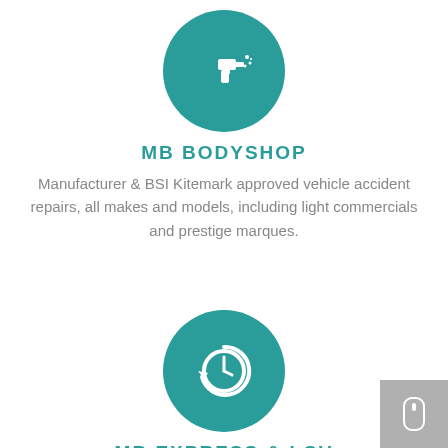[Figure (illustration): Teal circle icon with white spray gun/paint sprayer icon]
MB BODYSHOP
Manufacturer & BSI Kitemark approved vehicle accident repairs, all makes and models, including light commercials and prestige marques.
[Figure (illustration): Teal circle icon with white clock/refresh icon]
MB EXPRESS & LCV
Fast turnaround, high standard cosmetic SMART repairs. Alloy wheel repairs, bumper scuffs, stone...